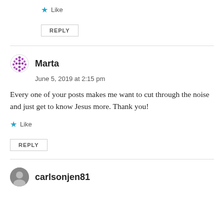Like
REPLY
Marta
June 5, 2019 at 2:15 pm
Every one of your posts makes me want to cut through the noise and just get to know Jesus more. Thank you!
Like
REPLY
carlsonjen81